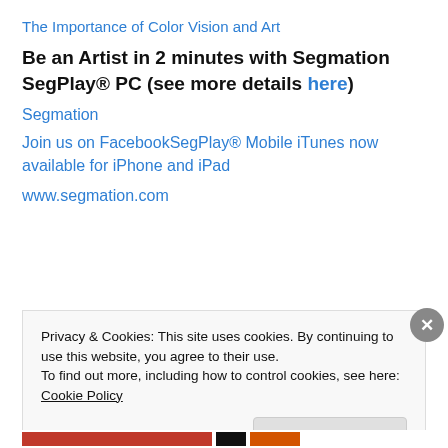The Importance of Color Vision and Art
Be an Artist in 2 minutes with Segmation SegPlay® PC (see more details here)
Segmation
Join us on FacebookSegPlay® Mobile iTunes now available for iPhone and iPad
www.segmation.com
Privacy & Cookies: This site uses cookies. By continuing to use this website, you agree to their use.
To find out more, including how to control cookies, see here: Cookie Policy
Close and accept